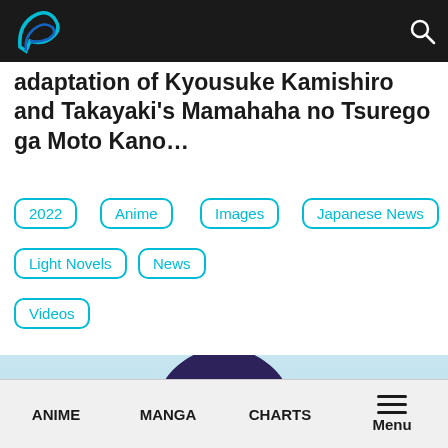Navigation bar with logo and search icon
adaptation of Kyousuke Kamishiro and Takayaki's Mamahaha no Tsurego ga Moto Kano…
2022
Anime
Images
Japanese News
Light Novels
News
Videos
[Figure (illustration): Anime character illustration with dark hair, partial face visible, with Japanese text reading 古見 さんは at the bottom]
ANIME  MANGA  CHARTS  Menu